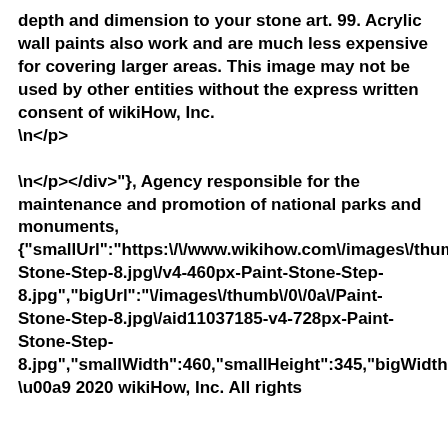depth and dimension to your stone art. 99. Acrylic wall paints also work and are much less expensive for covering larger areas. This image may not be used by other entities without the express written consent of wikiHow, Inc.
\n</p>

\n</p></div>"}, Agency responsible for the maintenance and promotion of national parks and monuments, {"smallUrl":"https:\/\/www.wikihow.com\/images\/thumb\/0\/0a\/Paint-Stone-Step-8.jpg\/v4-460px-Paint-Stone-Step-8.jpg","bigUrl":"\/images\/thumb\/0\/0a\/Paint-Stone-Step-8.jpg\/aid11037185-v4-728px-Paint-Stone-Step-8.jpg","smallWidth":460,"smallHeight":345,"bigWidth":"728","bigHeight":"546","licensing":"
\u00a9 2020 wikiHow, Inc. All rights